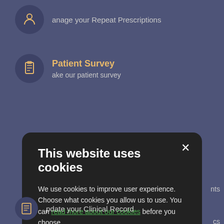Manage your Repeat Prescriptions
Patient Survey
Take our patient survey
This website uses cookies
We use cookies to improve user experience. Choose what cookies you allow us to use. You can read more about our cookies before you choose.
STRICTLY NECESSARY
PERFORMANCE
TARGETING
FUNCTIONALITY
ACCEPT ALL
DECLINE ALL
Update your Clinical Record